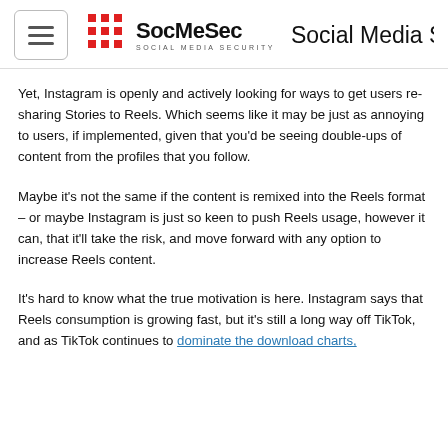SocMeSec SOCIAL MEDIA SECURITY | Social Media S
Yet, Instagram is openly and actively looking for ways to get users re-sharing Stories to Reels. Which seems like it may be just as annoying to users, if implemented, given that you'd be seeing double-ups of content from the profiles that you follow.
Maybe it's not the same if the content is remixed into the Reels format – or maybe Instagram is just so keen to push Reels usage, however it can, that it'll take the risk, and move forward with any option to increase Reels content.
It's hard to know what the true motivation is here. Instagram says that Reels consumption is growing fast, but it's still a long way off TikTok, and as TikTok continues to dominate the download charts,